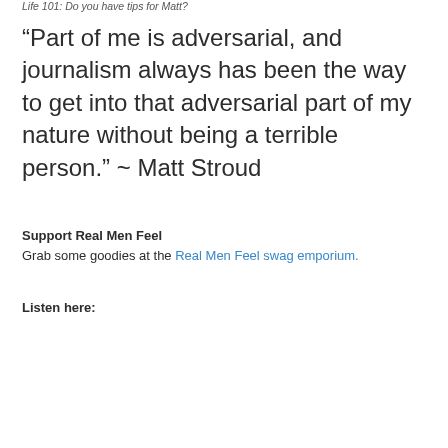Life 101: Do you have tips for Matt?
“Part of me is adversarial, and journalism always has been the way to get into that adversarial part of my nature without being a terrible person.” ~ Matt Stroud
Support Real Men Feel
Grab some goodies at the Real Men Feel swag emporium.
Listen here: